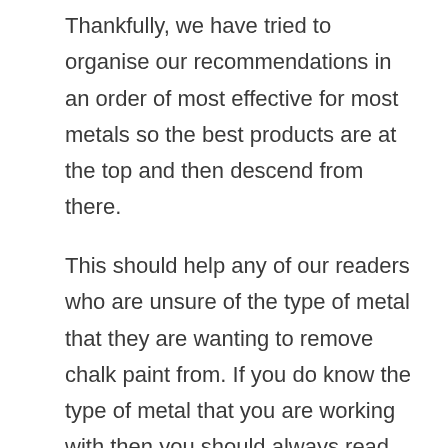Thankfully, we have tried to organise our recommendations in an order of most effective for most metals so the best products are at the top and then descend from there.
This should help any of our readers who are unsure of the type of metal that they are wanting to remove chalk paint from. If you do know the type of metal that you are working with then you should always read the label of the product for how to actually apply it to the metal to optimally